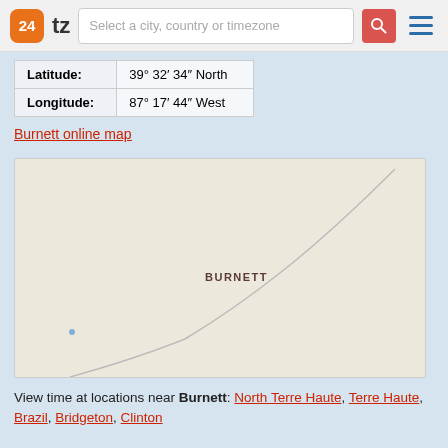24tz — Select a city, country or timezone
| Latitude: | 39° 32′ 34″ North |
| Longitude: | 87° 17′ 44″ West |
Burnett online map
[Figure (map): Map showing Burnett location with a curved road/boundary line and a location dot. The label BURNETT appears in the center of the map area.]
View time at locations near Burnett: North Terre Haute, Terre Haute, Brazil, Bridgeton, Clinton